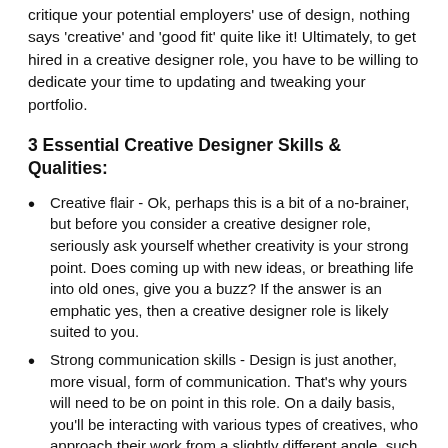critique your potential employers' use of design, nothing says 'creative' and 'good fit' quite like it! Ultimately, to get hired in a creative designer role, you have to be willing to dedicate your time to updating and tweaking your portfolio.
3 Essential Creative Designer Skills & Qualities:
Creative flair - Ok, perhaps this is a bit of a no-brainer, but before you consider a creative designer role, seriously ask yourself whether creativity is your strong point. Does coming up with new ideas, or breathing life into old ones, give you a buzz? If the answer is an emphatic yes, then a creative designer role is likely suited to you.
Strong communication skills - Design is just another, more visual, form of communication. That's why yours will need to be on point in this role. On a daily basis, you'll be interacting with various types of creatives, who approach their work from a slightly different angle, such as copywriters, illustrators and photographers. You'll also be expected to interact with those in managerial positions and, let's not forget, clients.